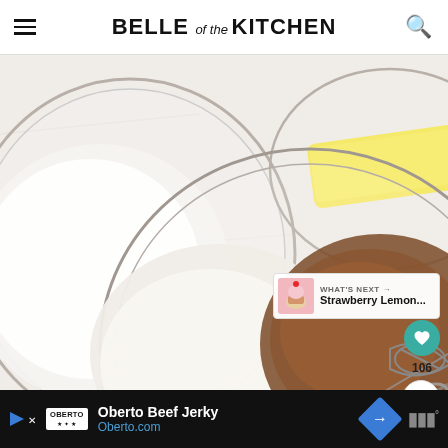BELLE of the KITCHEN
[Figure (photo): Overhead view of baking ingredients on a white marble surface: a glass bowl with white sugar (top left), a glass bowl with butter stick (top right), and a large glass bowl in the center-bottom containing flour and cocoa powder with a wire whisk, partially visible on the right edge.]
106
WHAT'S NEXT → Strawberry Lemon...
Oberto Beef Jerky Oberto.com